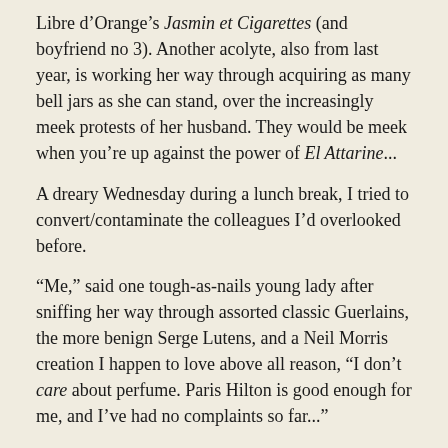Libre d'Orange's Jasmin et Cigarettes (and boyfriend no 3). Another acolyte, also from last year, is working her way through acquiring as many bell jars as she can stand, over the increasingly meek protests of her husband. They would be meek when you're up against the power of El Attarine...
A dreary Wednesday during a lunch break, I tried to convert/contaminate the colleagues I'd overlooked before.
“Me,” said one tough-as-nails young lady after sniffing her way through assorted classic Guerlains, the more benign Serge Lutens, and a Neil Morris creation I happen to love above all reason, “I don’t care about perfume. Paris Hilton is good enough for me, and I’ve had no complaints so far...”
You see what I’m up against here? Not only did my boss proclaim the glories of Robert Piguet Bandit parfum as ‘not safe for work’ (he might have a point there), but Paris Hilton????
As Charlie Brown would say... “Good grief!”
So the importance of finding likeminded souls can never be underestimated. One commenter on TAG broke my heart this year when she described a visit to Paris and greatly